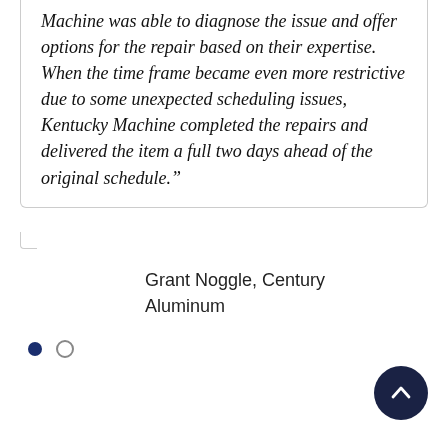Machine was able to diagnose the issue and offer options for the repair based on their expertise. When the time frame became even more restrictive due to some unexpected scheduling issues, Kentucky Machine completed the repairs and delivered the item a full two days ahead of the original schedule."
Grant Noggle, Century Aluminum